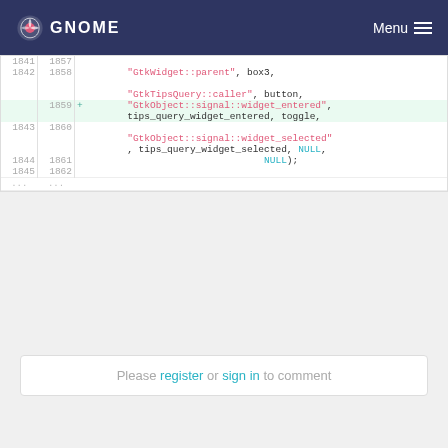GNOME  Menu
Code diff showing lines 1841-1845 (old) and 1857-1862 (new) with GtkWidget::parent, GtkTipsQuery::caller, GtkObject::signal::widget_entered (added), GtkObject::signal::widget_selected, NULL, NULL);
Please register or sign in to comment